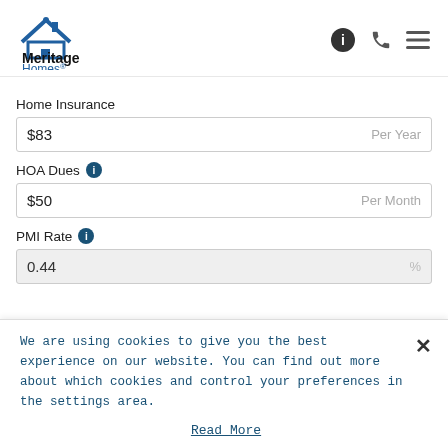[Figure (logo): Meritage Homes logo with roof/house icon in blue, 'Meritage' in bold black, 'Homes' in blue with registered trademark symbol. Navigation icons: info circle, phone, hamburger menu.]
Home Insurance
$83  Per Year
HOA Dues
$50  Per Month
PMI Rate
0.44  %
We are using cookies to give you the best experience on our website. You can find out more about which cookies and control your preferences in the settings area.
Read More